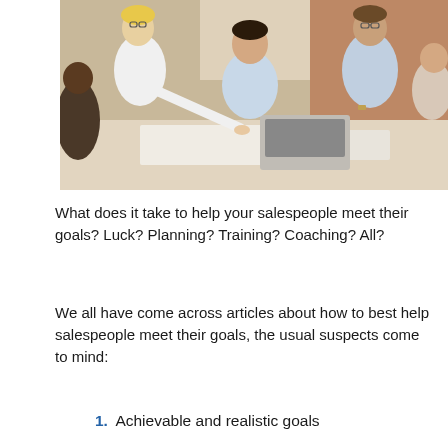[Figure (photo): Group of business professionals leaning over a table covered with papers and a laptop, collaborating in a meeting setting. A blonde woman in white points at documents while several colleagues look on.]
What does it take to help your salespeople meet their goals? Luck? Planning? Training? Coaching? All?
We all have come across articles about how to best help salespeople meet their goals, the usual suspects come to mind:
Achievable and realistic goals